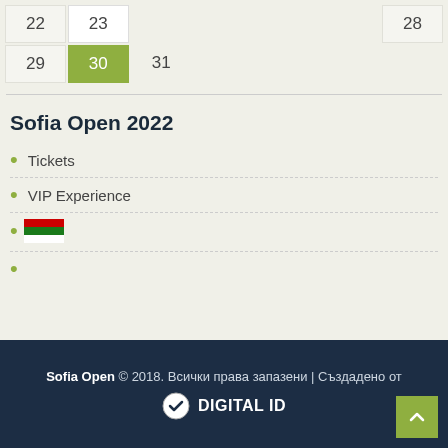[Figure (other): Calendar grid showing dates 22-31, with date 30 highlighted in green and dates 22, 28, 29 shaded]
Sofia Open 2022
Tickets
VIP Experience
Bulgarian flag icon
Sofia Open © 2018. Всички права запазени | Създадено от DIGITAL ID